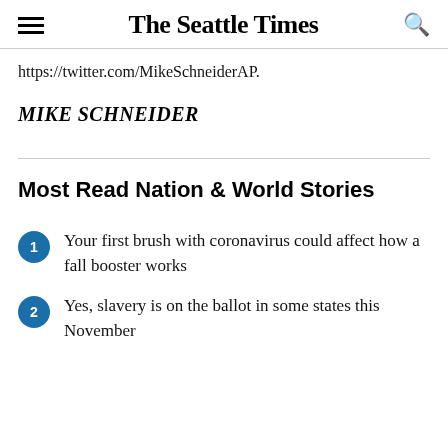The Seattle Times
https://twitter.com/MikeSchneiderAP.
MIKE SCHNEIDER
Most Read Nation & World Stories
Your first brush with coronavirus could affect how a fall booster works
Yes, slavery is on the ballot in some states this November